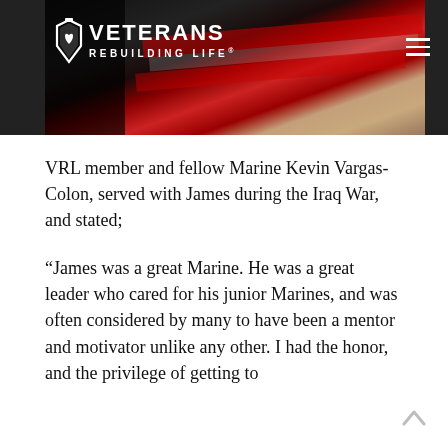[Figure (photo): Veterans Rebuilding Life website header with dark background, showing a partial view of a flag in red and white tones, with the Veterans Rebuilding Life logo on the left and a hamburger menu icon on the right]
VRL member and fellow Marine Kevin Vargas-Colon, served with James during the Iraq War, and stated;
“James was a great Marine. He was a great leader who cared for his junior Marines, and was often considered by many to have been a mentor and motivator unlike any other. I had the honor, and the privilege of getting to know him from the day we met